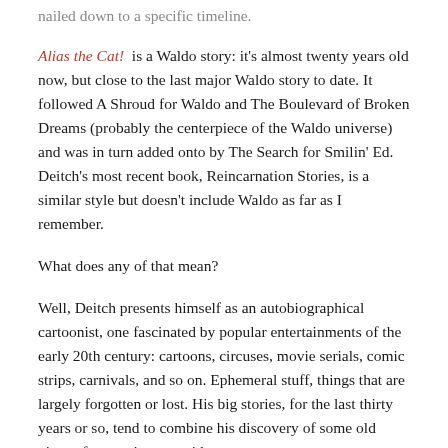nailed down to a specific timeline.
Alias the Cat! is a Waldo story: it's almost twenty years old now, but close to the last major Waldo story to date. It followed A Shroud for Waldo and The Boulevard of Broken Dreams (probably the centerpiece of the Waldo universe) and was in turn added onto by The Search for Smilin' Ed. Deitch's most recent book, Reincarnation Stories, is a similar style but doesn't include Waldo as far as I remember.
What does any of that mean?
Well, Deitch presents himself as an autobiographical cartoonist, one fascinated by popular entertainments of the early 20th century: cartoons, circuses, movie serials, comic strips, carnivals, and so on. Ephemeral stuff, things that are largely forgotten or lost. His big stories, for the last thirty years or so, tend to combine his discovery of some old piece of entertainment with a retelling of that old story as their inner content.